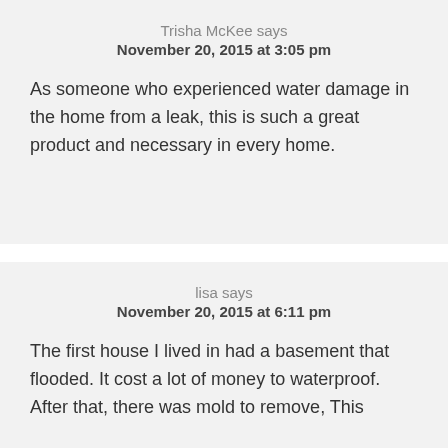Trisha McKee says
November 20, 2015 at 3:05 pm
As someone who experienced water damage in the home from a leak, this is such a great product and necessary in every home.
lisa says
November 20, 2015 at 6:11 pm
The first house I lived in had a basement that flooded. It cost a lot of money to waterproof. After that, there was mold to remove, This